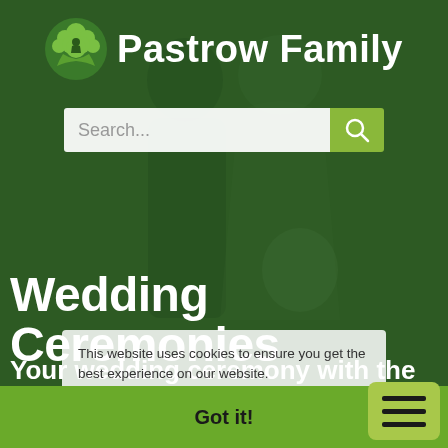[Figure (screenshot): Website screenshot of Pastrow Family, showing a green-overlaid wedding couple background, a logo with tree icon, search bar, main heading 'Wedding Ceremonies', subtitle 'Your wedding ceremony with the Pastrow Family.', a cookie consent notice overlay, and a green bottom bar with 'Got it!' button and hamburger menu.]
Pastrow Family
Search...
Wedding Ceremonies
Your wedding ceremony with the Pastrow Family.
This website uses cookies to ensure you get the best experience on our website.
Learn more
Got it!